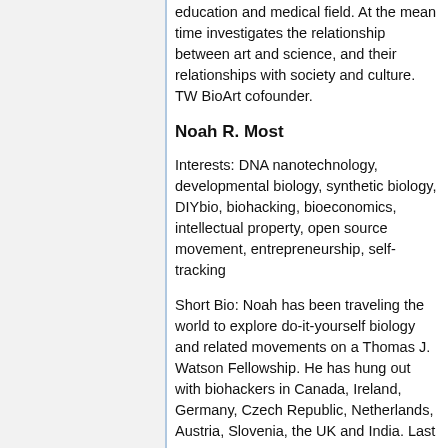education and medical field. At the mean time investigates the relationship between art and science, and their relationships with society and culture. TW BioArt cofounder.
Noah R. Most
Interests: DNA nanotechnology, developmental biology, synthetic biology, DIYbio, biohacking, bioeconomics, intellectual property, open source movement, entrepreneurship, self-tracking
Short Bio: Noah has been traveling the world to explore do-it-yourself biology and related movements on a Thomas J. Watson Fellowship. He has hung out with biohackers in Canada, Ireland, Germany, Czech Republic, Netherlands, Austria, Slovenia, the UK and India. Last